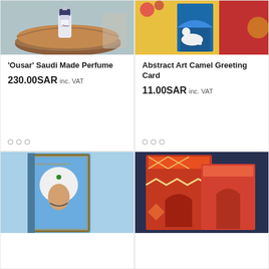[Figure (photo): Product photo of 'Ousar' Saudi perfume bottle in a wooden bowl]
'Ousar' Saudi Made Perfume
230.00SAR inc. VAT
[Figure (photo): Abstract art greeting card with camel and Moroccan architecture, colorful illustration]
Abstract Art Camel Greeting Card
11.00SAR inc. VAT
[Figure (photo): Book cover showing an Ottoman sultan portrait with turban]
[Figure (photo): Moroccan-themed greeting cards with geometric patterns in red and orange tones]